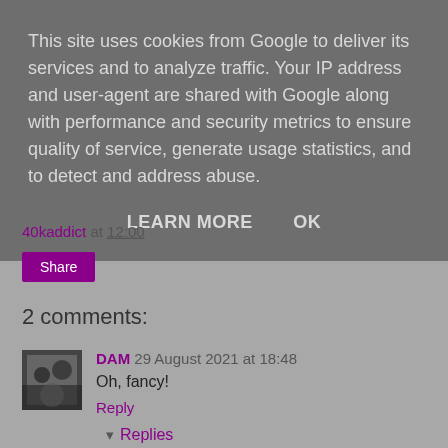This site uses cookies from Google to deliver its services and to analyze traffic. Your IP address and user-agent are shared with Google along with performance and security metrics to ensure quality of service, generate usage statistics, and to detect and address abuse.
LEARN MORE   OK
40kaddict at 12:00
Share
2 comments:
DAM 29 August 2021 at 18:48
Oh, fancy!
Reply
Replies